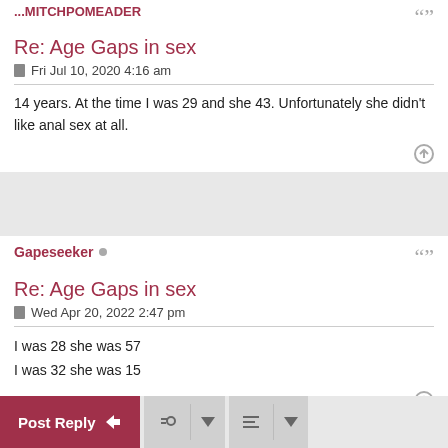Re: Age Gaps in sex
Fri Jul 10, 2020 4:16 am
14 years. At the time I was 29 and she 43. Unfortunately she didn't like anal sex at all.
Gapeseeker
Re: Age Gaps in sex
Wed Apr 20, 2022 2:47 pm
I was 28 she was 57
I was 32 she was 15
Post Reply